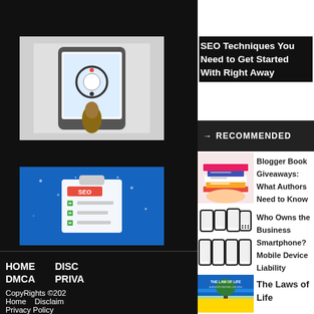[Figure (screenshot): Thumbnail image of tablet/device with dial]
SEO Techniques You Need to Get Started With Right Away
→ RECOMMENDED
[Figure (screenshot): SEO checklist on blue background]
[Figure (photo): Blogger book giveaway stack of books]
Blogger Book Giveaways: What Authors Need to Know
[Figure (illustration): Multiple smartphones/mobile devices]
Who Owns the Business Smartphone? Mobile Device Liability
[Figure (photo): The Law of Life - tree in field]
The Laws of Life
HOME    DISC    DMCA    PRIVA
CopyRights ©202    Home    Disclaim    Privacy Policy